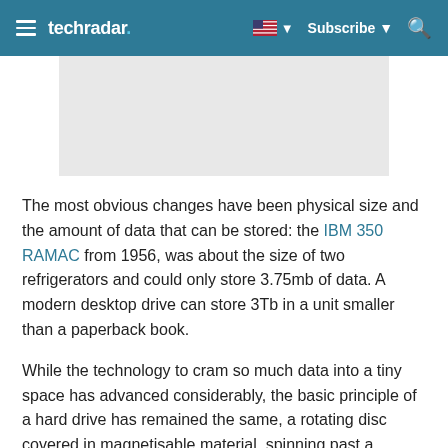techradar  Subscribe
[Figure (other): Advertisement placeholder box, light grey background]
The most obvious changes have been physical size and the amount of data that can be stored: the IBM 350 RAMAC from 1956, was about the size of two refrigerators and could only store 3.75mb of data. A modern desktop drive can store 3Tb in a unit smaller than a paperback book.
While the technology to cram so much data into a tiny space has advanced considerably, the basic principle of a hard drive has remained the same, a rotating disc covered in magnetisable material, spinning past a